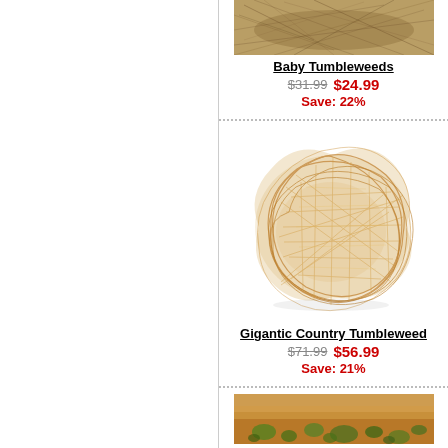[Figure (photo): Baby Tumbleweeds product photo - dry tangled brown tumbleweed plant material viewed from above]
Baby Tumbleweeds
$31.99  $24.99  Save: 22%
[Figure (photo): Gigantic Country Tumbleweed product photo - large round golden-tan tumbleweed against white background]
Gigantic Country Tumbleweed
$71.99  $56.99  Save: 21%
[Figure (photo): Third product photo partially visible at bottom - desert scene with small green plants on sandy/reddish ground]